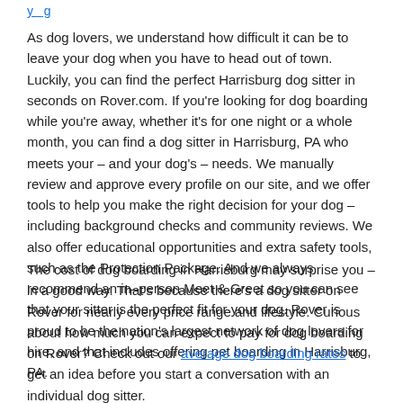y g
As dog lovers, we understand how difficult it can be to leave your dog when you have to head out of town. Luckily, you can find the perfect Harrisburg dog sitter in seconds on Rover.com. If you're looking for dog boarding while you're away, whether it's for one night or a whole month, you can find a dog sitter in Harrisburg, PA who meets your – and your dog's – needs. We manually review and approve every profile on our site, and we offer tools to help you make the right decision for your dog – including background checks and community reviews. We also offer educational opportunities and extra safety tools, such as the Protection Package. And we always recommend an in–person Meet & Greet so you can see that your sitter is the perfect fit for your dog. Rover is proud to be the nation's largest network of dog lovers for hire, and that includes offering pet boarding in Harrisburg, PA.
The cost of dog boarding in Harrisburg may surprise you – in a good way. That's because there's a dog sitter on Rover for nearly every price range and lifestyle. Curious about how much you can expect to pay for dog boarding on Rover? Check out our average dog boarding rates to get an idea before you start a conversation with an individual dog sitter.